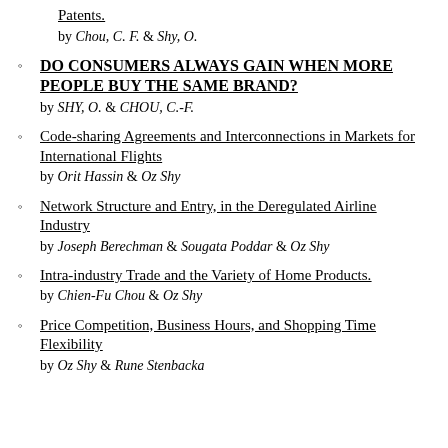Patents.
by Chou, C. F. & Shy, O.
DO CONSUMERS ALWAYS GAIN WHEN MORE PEOPLE BUY THE SAME BRAND?
by SHY, O. & CHOU, C.-F.
Code-sharing Agreements and Interconnections in Markets for International Flights
by Orit Hassin & Oz Shy
Network Structure and Entry, in the Deregulated Airline Industry
by Joseph Berechman & Sougata Poddar & Oz Shy
Intra-industry Trade and the Variety of Home Products.
by Chien-Fu Chou & Oz Shy
Price Competition, Business Hours, and Shopping Time Flexibility
by Oz Shy & Rune Stenbacka